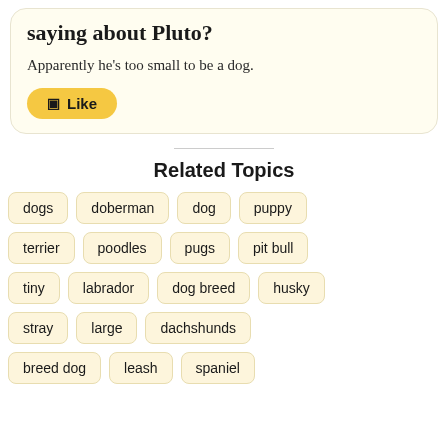saying about Pluto?
Apparently he's too small to be a dog.
Like
Related Topics
dogs
doberman
dog
puppy
terrier
poodles
pugs
pit bull
tiny
labrador
dog breed
husky
stray
large
dachshunds
breed dog
leash
spaniel